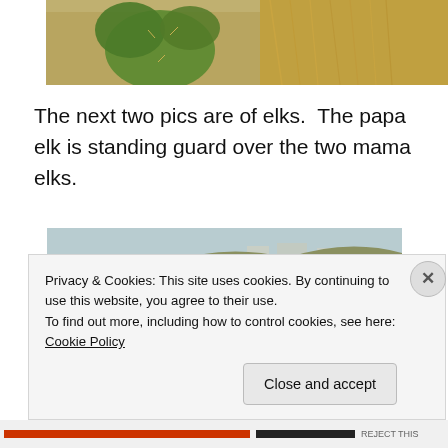[Figure (photo): Partial top of page photo showing cactus pads (prickly pear) and dry brush/grass background]
The next two pics are of elks.  The papa elk is standing guard over the two mama elks.
[Figure (photo): Landscape photo showing a hilly desert terrain with elks visible — a large bull elk in foreground with antlers, and elk figures in background, with structures visible on distant hillside]
Privacy & Cookies: This site uses cookies. By continuing to use this website, you agree to their use.
To find out more, including how to control cookies, see here: Cookie Policy